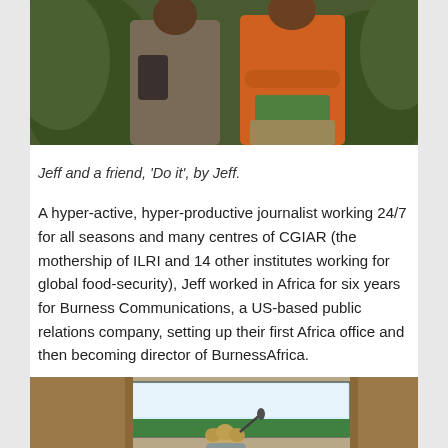[Figure (photo): Two people standing outdoors against a background of tropical green plants. One person wears a grey/brown top, the other wears an orange zip-up jacket with a green shirt underneath.]
Jeff and a friend, 'Do it', by Jeff.
A hyper-active, hyper-productive journalist working 24/7 for all seasons and many centres of CGIAR (the mothership of ILRI and 14 other institutes working for global food-security), Jeff worked in Africa for six years for Burness Communications, a US-based public relations company, setting up their first Africa office and then becoming director of BurnessAfrica.
[Figure (photo): A person with curly hair seen from behind, presenting or speaking near a projection screen in a conference or lecture room setting.]